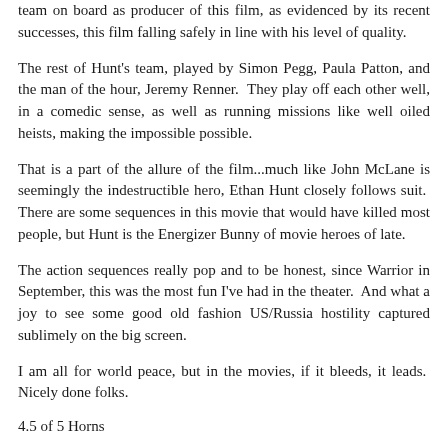team on board as producer of this film, as evidenced by its recent successes, this film falling safely in line with his level of quality.
The rest of Hunt's team, played by Simon Pegg, Paula Patton, and the man of the hour, Jeremy Renner.  They play off each other well, in a comedic sense, as well as running missions like well oiled heists, making the impossible possible.
That is a part of the allure of the film...much like John McLane is seemingly the indestructible hero, Ethan Hunt closely follows suit.  There are some sequences in this movie that would have killed most people, but Hunt is the Energizer Bunny of movie heroes of late.
The action sequences really pop and to be honest, since Warrior in September, this was the most fun I've had in the theater.  And what a joy to see some good old fashion US/Russia hostility captured sublimely on the big screen.
I am all for world peace, but in the movies, if it bleeds, it leads.  Nicely done folks.
4.5 of 5 Horns